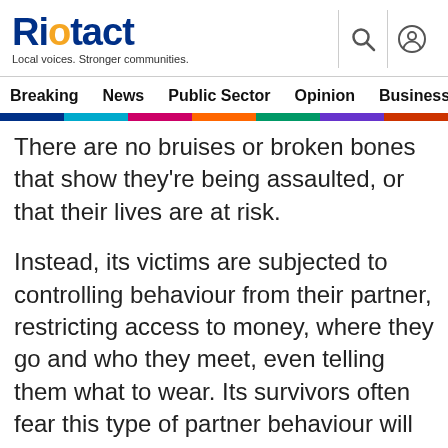Riotact — Local voices. Stronger communities.
Breaking  News  Public Sector  Opinion  Business
There are no bruises or broken bones that show they're being assaulted, or that their lives are at risk.
Instead, its victims are subjected to controlling behaviour from their partner, restricting access to money, where they go and who they meet, even telling them what to wear. Its survivors often fear this type of partner behaviour will not be recognised as abuse by the police or courts because it's